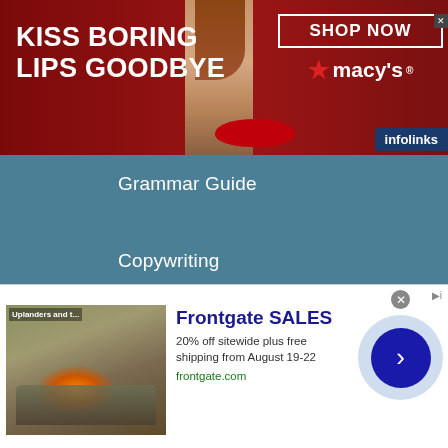[Figure (screenshot): Top banner advertisement for Macy's: red background with woman's face showing red lips, text 'KISS BORING LIPS GOODBYE', 'SHOP NOW' button, Macy's star logo, infolinks badge]
Grammar Guide
Copywriting
How to Be a Paid Writer
Job Hunting Tips
Freelance Writing Job Board
Freelance Writing Guide
Blogging
[Figure (screenshot): Bottom banner advertisement for Frontgate SALES: outdoor furniture image, '20% off sitewide plus free shipping from August 19-22', frontgate.com URL, blue arrow circle button]
infolinks